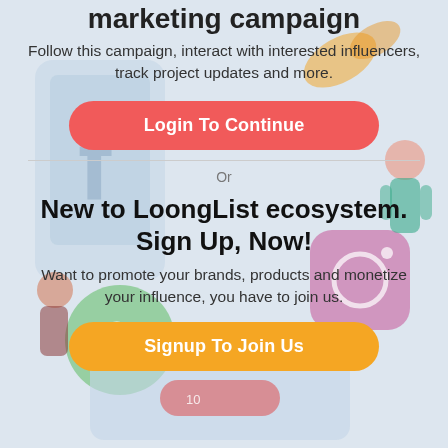marketing campaign
Follow this campaign, interact with interested influencers, track project updates and more.
[Figure (illustration): Colorful isometric illustration of social media icons and marketing characters in the background]
Login To Continue
Or
New to LoongList ecosystem. Sign Up, Now!
Want to promote your brands, products and monetize your influence, you have to join us.
Signup To Join Us